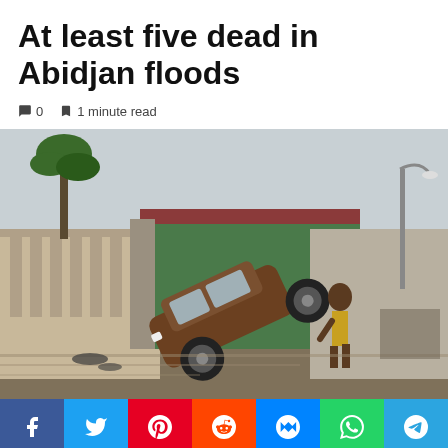At least five dead in Abidjan floods
💬 0   🔖 1 minute read
[Figure (photo): Flood scene in Abidjan showing a brown sedan car propped up at an angle against a concrete wall, with a person walking past on a muddy flooded street. Green-painted building and palm trees visible in background.]
Facebook  Twitter  Pinterest  Reddit  Messenger  WhatsApp  Telegram